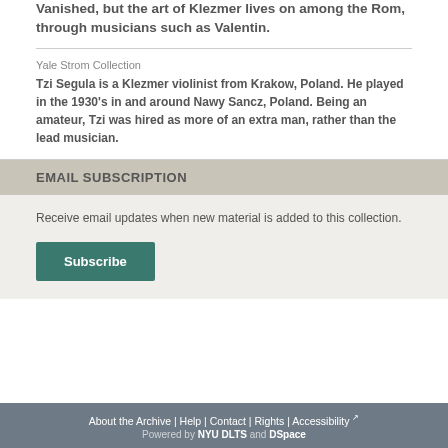Vanished, but the art of Klezmer lives on among the Rom, through musicians such as Valentin.
Yale Strom Collection
Tzi Segula is a Klezmer violinist from Krakow, Poland. He played in the 1930's in and around Nawy Sancz, Poland. Being an amateur, Tzi was hired as more of an extra man, rather than the lead musician.
EMAIL SUBSCRIPTION
Receive email updates when new material is added to this collection.
Subscribe
About the Archive | Help | Contact | Rights | Accessibility | Powered by NYU DLTS and DSpace